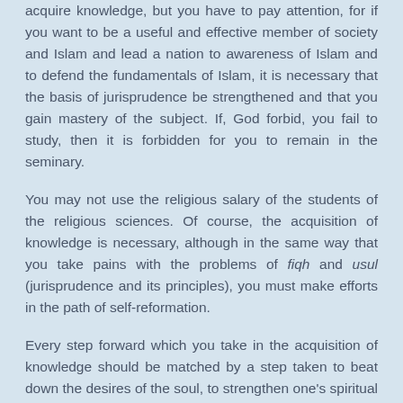acquire knowledge, but you have to pay attention, for if you want to be a useful and effective member of society and Islam and lead a nation to awareness of Islam and to defend the fundamentals of Islam, it is necessary that the basis of jurisprudence be strengthened and that you gain mastery of the subject. If, God forbid, you fail to study, then it is forbidden for you to remain in the seminary.
You may not use the religious salary of the students of the religious sciences. Of course, the acquisition of knowledge is necessary, although in the same way that you take pains with the problems of fiqh and usul (jurisprudence and its principles), you must make efforts in the path of self-reformation.
Every step forward which you take in the acquisition of knowledge should be matched by a step taken to beat down the desires of the soul, to strengthen one's spiritual powers, to acquire nobility of character, and to gain spirituality and piety [taqwa].
The learning of these sciences in reality is an introduction to the refinement of the soul and the acquisition of virtue,